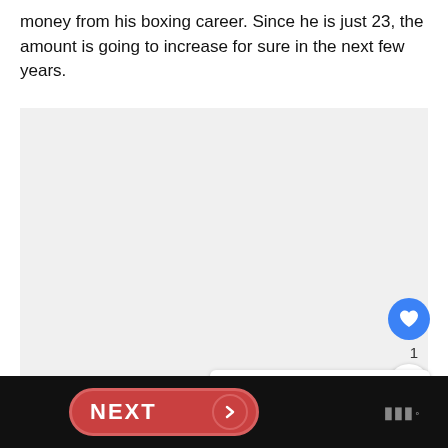money from his boxing career. Since he is just 23, the amount is going to increase for sure in the next few years.
[Figure (photo): Light gray image placeholder rectangle occupying the main content area]
[Figure (infographic): UI overlay elements: blue heart/like button, like count '1', share button, and a 'What's Next' card showing 'Demetrius Andrade Net...' with a thumbnail]
NEXT button and brand logo in black bottom bar